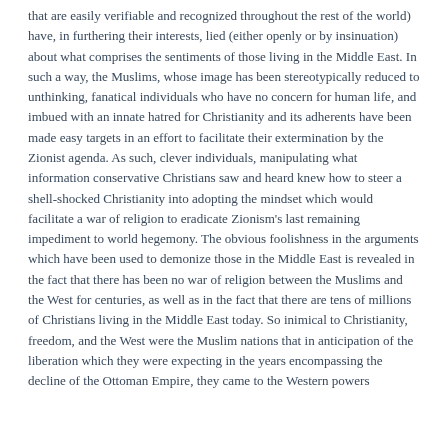that are easily verifiable and recognized throughout the rest of the world) have, in furthering their interests, lied (either openly or by insinuation) about what comprises the sentiments of those living in the Middle East. In such a way, the Muslims, whose image has been stereotypically reduced to unthinking, fanatical individuals who have no concern for human life, and imbued with an innate hatred for Christianity and its adherents have been made easy targets in an effort to facilitate their extermination by the Zionist agenda. As such, clever individuals, manipulating what information conservative Christians saw and heard knew how to steer a shell-shocked Christianity into adopting the mindset which would facilitate a war of religion to eradicate Zionism's last remaining impediment to world hegemony. The obvious foolishness in the arguments which have been used to demonize those in the Middle East is revealed in the fact that there has been no war of religion between the Muslims and the West for centuries, as well as in the fact that there are tens of millions of Christians living in the Middle East today. So inimical to Christianity, freedom, and the West were the Muslim nations that in anticipation of the liberation which they were expecting in the years encompassing the decline of the Ottoman Empire, they came to the Western powers